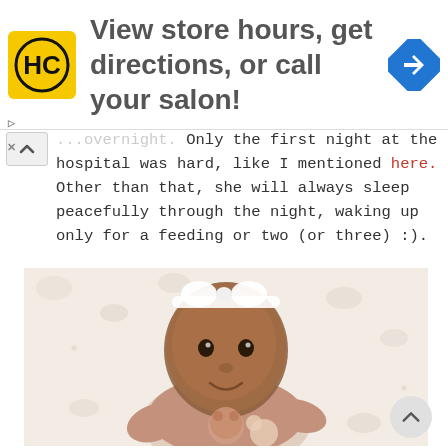[Figure (infographic): Advertisement banner: HC logo (yellow square with HC letters), text 'View store hours, get directions, or call your salon!', blue diamond navigation icon on right]
...overnight. Only the first night at the hospital was hard, like I mentioned here. Other than that, she will always sleep peacefully through the night, waking up only for a feeding or two (or three) :).
[Figure (photo): A baby girl lying on a floral blanket, wearing a pink/mauve knit sweater with a bear applique, and a white bow headband. She is smiling and looking up at the camera.]